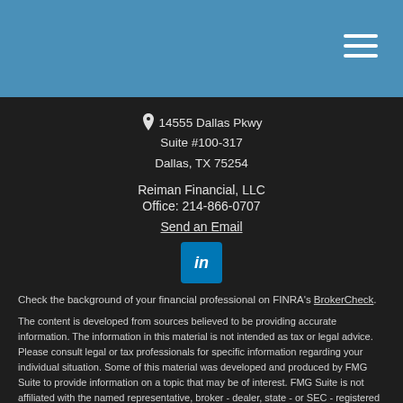14555 Dallas Pkwy
Suite #100-317
Dallas, TX 75254
Reiman Financial, LLC
Office: 214-866-0707
Send an Email
[Figure (logo): LinkedIn logo button — blue square with white 'in' text]
Check the background of your financial professional on FINRA's BrokerCheck.
The content is developed from sources believed to be providing accurate information. The information in this material is not intended as tax or legal advice. Please consult legal or tax professionals for specific information regarding your individual situation. Some of this material was developed and produced by FMG Suite to provide information on a topic that may be of interest. FMG Suite is not affiliated with the named representative, broker - dealer, state - or SEC - registered investment advisory